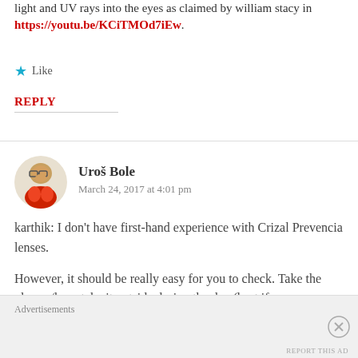light and UV rays into the eyes as claimed by william stacy in https://youtu.be/KCiTMOd7iEw.
Like
REPLY
Uroš Bole
March 24, 2017 at 4:01 pm
karthik: I don't have first-hand experience with Crizal Prevencia lenses.
However, it should be really easy for you to check. Take the glasses/lens, take it outside during the day (best if
Advertisements